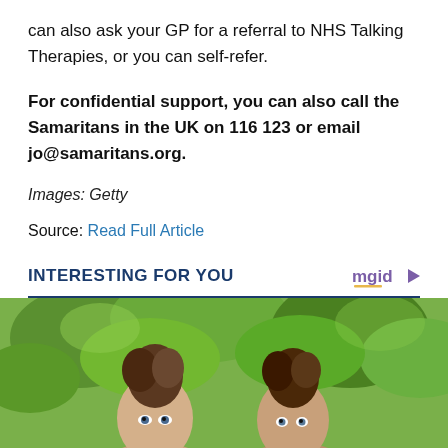can also ask your GP for a referral to NHS Talking Therapies, or you can self-refer.
For confidential support, you can also call the Samaritans in the UK on 116 123 or email jo@samaritans.org.
Images: Getty
Source: Read Full Article
INTERESTING FOR YOU
[Figure (photo): Two young girls with buns hairstyles outdoors with green foliage background]